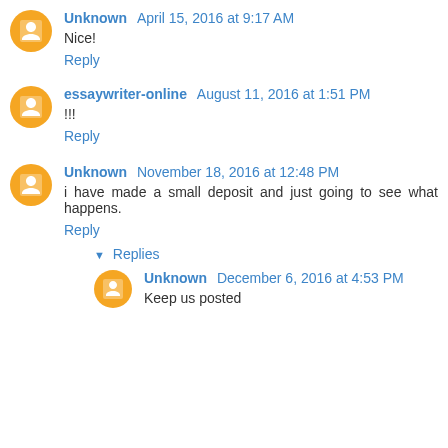Unknown April 15, 2016 at 9:17 AM
Nice!
Reply
essaywriter-online August 11, 2016 at 1:51 PM
!!!
Reply
Unknown November 18, 2016 at 12:48 PM
i have made a small deposit and just going to see what happens.
Reply
Replies
Unknown December 6, 2016 at 4:53 PM
Keep us posted